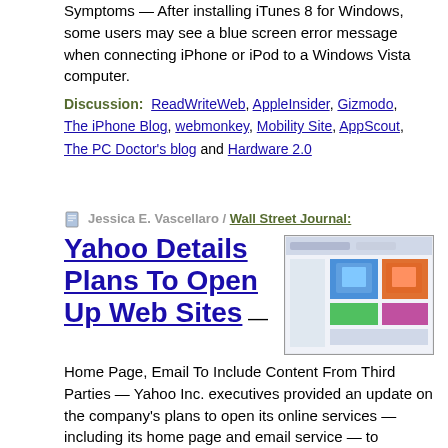Symptoms — After installing iTunes 8 for Windows, some users may see a blue screen error message when connecting iPhone or iPod to a Windows Vista computer.
Discussion: ReadWriteWeb, AppleInsider, Gizmodo, The iPhone Blog, webmonkey, Mobility Site, AppScout, The PC Doctor's blog and Hardware 2.0
Jessica E. Vascellaro / Wall Street Journal:
Yahoo Details Plans To Open Up Web Sites
[Figure (screenshot): Screenshot of a Yahoo web interface showing a colorful grid layout with images]
Home Page, Email To Include Content From Third Parties — Yahoo Inc. executives provided an update on the company's plans to open its online services — including its home page and email service — to contributions from third-party Internet and software companies.
Discussion: GStatic blogs, The Open...